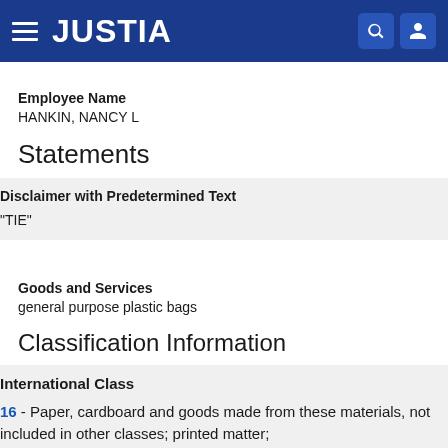JUSTIA
Employee Name
HANKIN, NANCY L
Statements
Disclaimer with Predetermined Text
"TIE"
Goods and Services
general purpose plastic bags
Classification Information
International Class
16 - Paper, cardboard and goods made from these materials, not included in other classes; printed matter; bookbinding material; photographs; stationery;